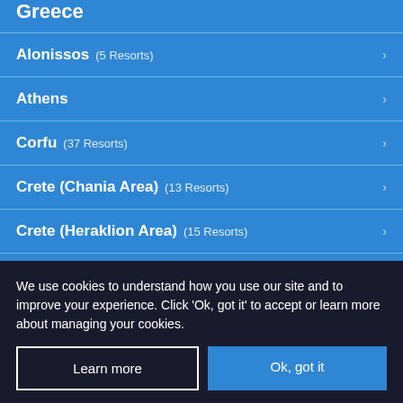Greece
Alonissos (5 Resorts)
Athens
Corfu (37 Resorts)
Crete (Chania Area) (13 Resorts)
Crete (Heraklion Area) (15 Resorts)
Halkidiki (17 Resorts)
We use cookies to understand how you use our site and to improve your experience. Click 'Ok, got it' to accept or learn more about managing your cookies.